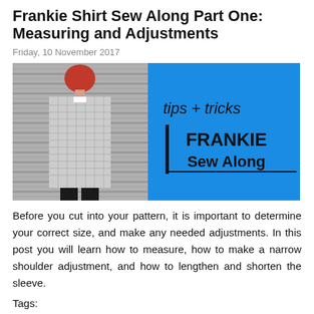Frankie Shirt Sew Along Part One: Measuring and Adjustments
Friday, 10 November 2017
[Figure (photo): Composite image: left half shows a person from behind wearing a patterned long shirt/coat with red hair, standing against a grey slatted background; right half is a bright blue graphic panel with text 'tips + tricks' in italic and 'FRANKIE Sew Along' in bold black with a vertical bar accent.]
Before you cut into your pattern, it is important to determine your correct size, and make any needed adjustments. In this post you will learn how to measure, how to make a narrow shoulder adjustment, and how to lengthen and shorten the sleeve.
Tags: